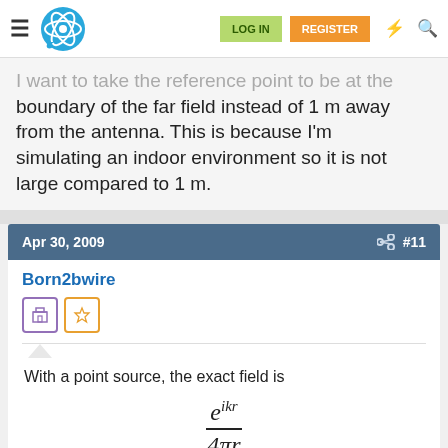Navigation bar with logo, LOG IN, REGISTER buttons
I want to take the reference point to be at the boundary of the far field instead of 1 m away from the antenna. This is because I'm simulating an indoor environment so it is not large compared to 1 m.
Apr 30, 2009  #11
Born2bwire
With a point source, the exact field is